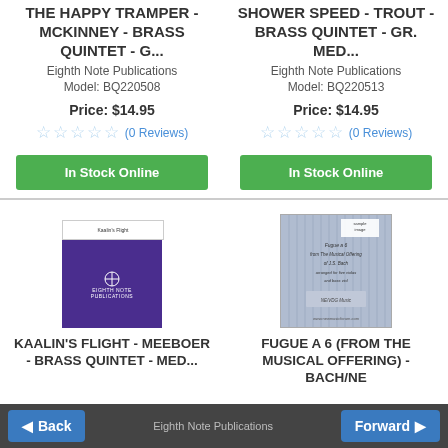THE HAPPY TRAMPER - MCKINNEY - BRASS QUINTET - G...
Eighth Note Publications
Model: BQ220508
Price: $14.95
(0 Reviews)
In Stock Online
SHOWER SPEED - TROUT - BRASS QUINTET - GR. MED...
Eighth Note Publications
Model: BQ220513
Price: $14.95
(0 Reviews)
In Stock Online
[Figure (photo): Book cover for Kaalin's Flight - Eighth Note Publications, purple cover with logo]
KAALIN'S FLIGHT - MEEBOER - BRASS QUINTET - MED...
[Figure (photo): Book cover for Fugue a 6 (From the Musical Offering) - Bach/NE, gray striped cover]
FUGUE A 6 (FROM THE MUSICAL OFFERING) - BACH/NE
Back
Forward